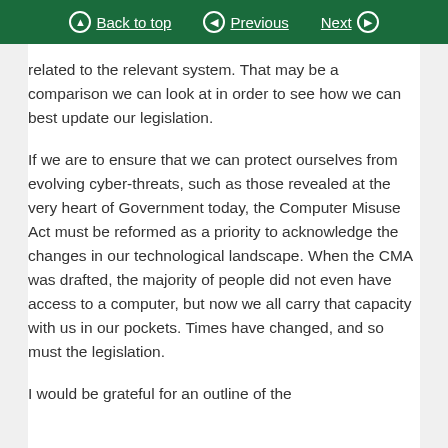Back to top | Previous | Next
related to the relevant system. That may be a comparison we can look at in order to see how we can best update our legislation.
If we are to ensure that we can protect ourselves from evolving cyber-threats, such as those revealed at the very heart of Government today, the Computer Misuse Act must be reformed as a priority to acknowledge the changes in our technological landscape. When the CMA was drafted, the majority of people did not even have access to a computer, but now we all carry that capacity with us in our pockets. Times have changed, and so must the legislation.
I would be grateful for an outline of the